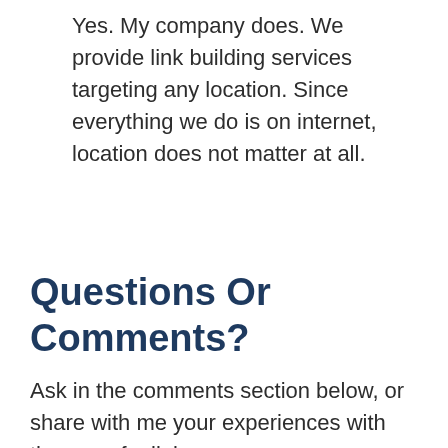Yes. My company does. We provide link building services targeting any location. Since everything we do is on internet, location does not matter at all.
Questions Or Comments?
Ask in the comments section below, or share with me your experiences with the use of a link